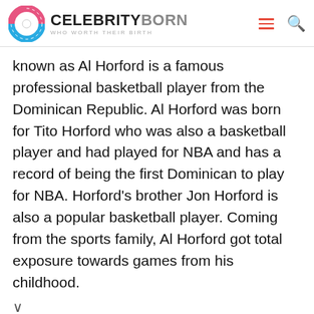CELEBRITYBORN WHO WORTH THEIR BIRTH
known as Al Horford is a famous professional basketball player from the Dominican Republic. Al Horford was born for Tito Horford who was also a basketball player and had played for NBA and has a record of being the first Dominican to play for NBA. Horford's brother Jon Horford is also a popular basketball player. Coming from the sports family, Al Horford got total exposure towards games from his childhood.
[Figure (screenshot): Advertisement for CVS Photo: 50+ Same Day Photo Products, CVS Photo]
Navigation arrows